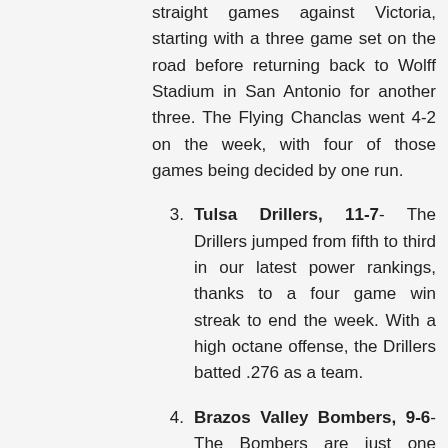straight games against Victoria, starting with a three game set on the road before returning back to Wolff Stadium in San Antonio for another three. The Flying Chanclas went 4-2 on the week, with four of those games being decided by one run.
Tulsa Drillers, 11-7- The Drillers jumped from fifth to third in our latest power rankings, thanks to a four game win streak to end the week. With a high octane offense, the Drillers batted .276 as a team.
Brazos Valley Bombers, 9-6- The Bombers are just one game back in the South division standings, following two losses